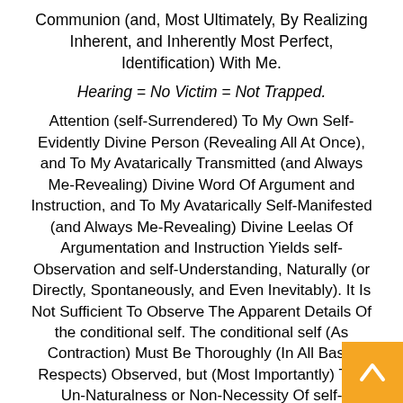Communion (and, Most Ultimately, By Realizing Inherent, and Inherently Most Perfect, Identification) With Me.
Hearing = No Victim = Not Trapped.
Attention (self-Surrendered) To My Own Self-Evidently Divine Person (Revealing All At Once), and To My Avatarically Transmitted (and Always Me-Revealing) Divine Word Of Argument and Instruction, and To My Avatarically Self-Manifested (and Always Me-Revealing) Divine Leelas Of Argumentation and Instruction Yields self-Observation and self-Understanding, Naturally (or Directly, Spontaneously, and Even Inevitably). It Is Not Sufficient To Observe The Apparent Details Of the conditional self. The conditional self (As Contraction) Must Be Thoroughly (In All Basic Respects) Observed, but (Most Importantly) The Un-Naturalness or Non-Necessity Of self-